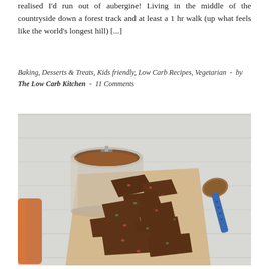realised I'd run out of aubergine! Living in the middle of the countryside down a forest track and at least a 1 hr walk (up what feels like the world's longest hill) [...]
Baking, Desserts & Treats, Kids friendly, Low Carb Recipes, Vegetarian  -  by The Low Carb Kitchen  -  11 Comments
[Figure (photo): Overhead food photo showing broken dark chocolate bark pieces scattered on brown parchment paper, a glass jar filled with brown spice powder, a blue-handled spoon with spice powder, and a partial orange glass jar, all on a white wooden surface.]